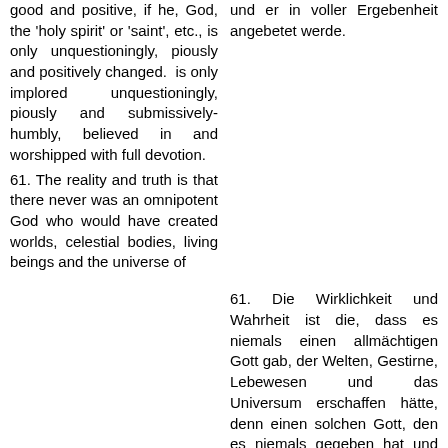good and positive, if he, God, the 'holy spirit' or 'saint', etc., is only unquestioningly, piously and positively changed. is only implored unquestioningly, piously and submissively-humbly, believed in and worshipped with full devotion.
und er in voller Ergebenheit angebetet werde.
61. The reality and truth is that there never was an omnipotent God who would have created worlds, celestial bodies, living beings and the universe of
61. Die Wirklichkeit und Wahrheit ist die, dass es niemals einen allmächtigen Gott gab, der Welten, Gestirne, Lebewesen und das Universum erschaffen hätte, denn einen solchen Gott, den es niemals gegeben hat und niemals geben wird, den es